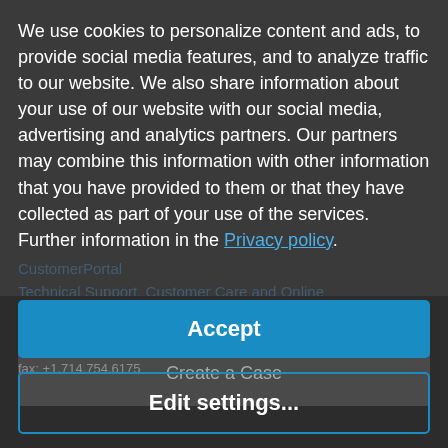We use cookies to personalize content and ads, to provide social media features, and to analyze traffic to our website. We also share information about your use of our website with our social media, advertising and analytics partners. Our partners may combine this information with other information that you have provided to them or that they have collected as part of your use of the services. Further information in the Privacy policy.
Create a Case
Accept
toll free: +1.600.772.2634 (US only)
fax: +1.714.754.6175
Edit settings...